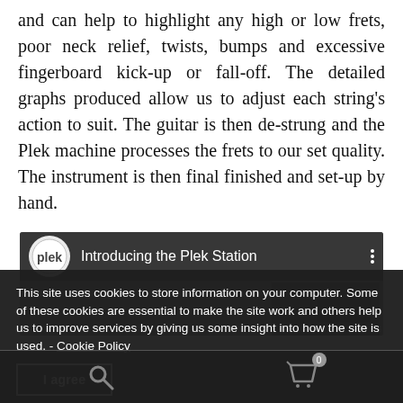and can help to highlight any high or low frets, poor neck relief, twists, bumps and excessive fingerboard kick-up or fall-off. The detailed graphs produced allow us to adjust each string's action to suit. The guitar is then de-strung and the Plek machine processes the frets to our set quality. The instrument is then final finished and set-up by hand.
[Figure (screenshot): YouTube-style video thumbnail showing the Plek logo (white circle with 'plek' text) and title 'Introducing the Plek Station' on a dark background with a machine visible behind]
This site uses cookies to store information on your computer. Some of these cookies are essential to make the site work and others help us to improve services by giving us some insight into how the site is used. - Cookie Policy
I agree